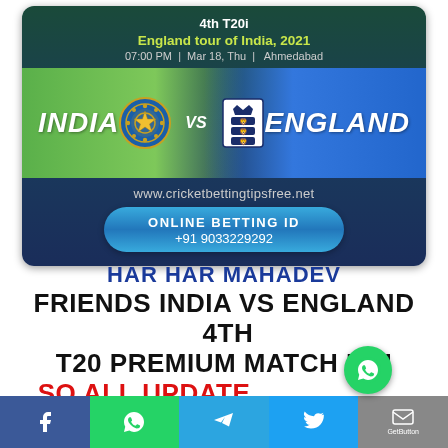[Figure (infographic): Cricket match promotion card for India vs England 4th T20i, England tour of India 2021, 07:00 PM Mar 18 Thu Ahmedabad, with BCCI and ECB logos, teams section, website www.cricketbettingtipsfree.net, Online Betting ID +91 9033229292]
HAR HAR MAHADEV
FRIENDS INDIA VS ENGLAND  4TH T20 PREMIUM MATCH HAI
SO ALL UPDATE ONLY PAID
[Figure (infographic): Social media footer bar with Facebook, WhatsApp, Telegram, Twitter, GetButton icons]